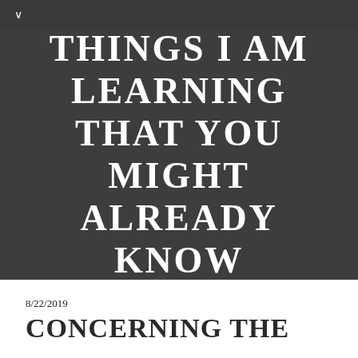∨
THINGS I AM LEARNING THAT YOU MIGHT ALREADY KNOW
8/22/2019
CONCERNING THE